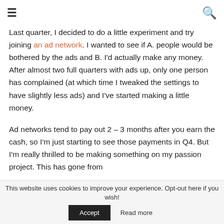≡ [menu icon] | [search icon]
Last quarter, I decided to do a little experiment and try joining an ad network. I wanted to see if A. people would be bothered by the ads and B. I'd actually make any money. After almost two full quarters with ads up, only one person has complained (at which time I tweaked the settings to have slightly less ads) and I've started making a little money.
Ad networks tend to pay out 2 – 3 months after you earn the cash, so I'm just starting to see those payments in Q4. But I'm really thrilled to be making something on my passion project. This has gone from
This website uses cookies to improve your experience. Opt-out here if you wish! Accept Read more